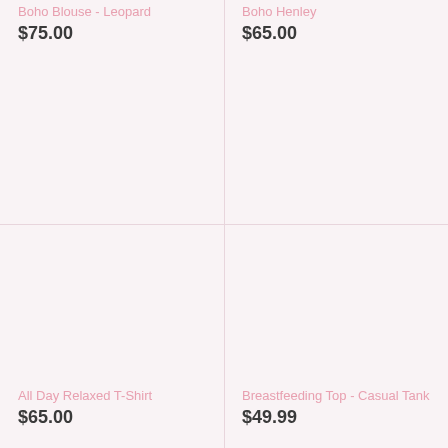Boho Blouse - Leopard
$75.00
Boho Henley
$65.00
All Day Relaxed T-Shirt
$65.00
Breastfeeding Top - Casual Tank
$49.99